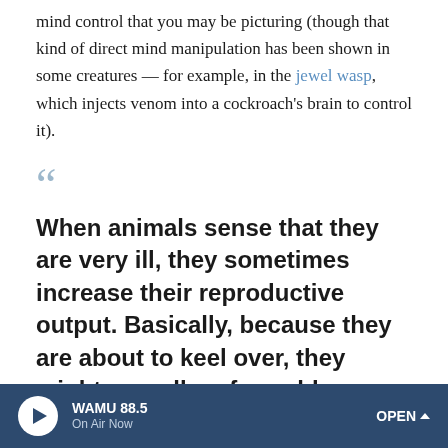mind control that you may be picturing (though that kind of direct mind manipulation has been shown in some creatures — for example, in the jewel wasp, which injects venom into a cockroach's brain to control it).
When animals sense that they are very ill, they sometimes increase their reproductive output. Basically, because they are about to keel over, they might as well go for gold.
Shelley Adamo
The virus could be indirectly controlling behavior. Adamo